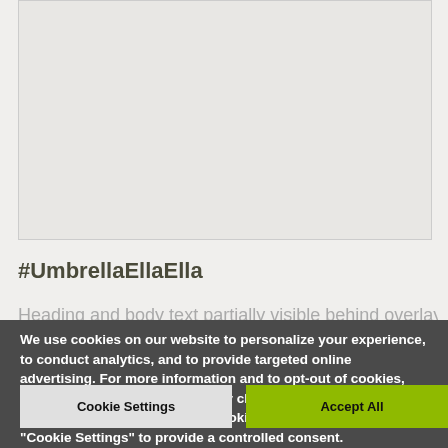[Figure (photo): Partially visible image area with light gray/beige background, content cropped]
#UmbrellaEllaElla
Heading and body text partially visible, faded behind cookie overlay
We use cookies on our website to personalize your experience, to conduct analytics, and to provide targeted online advertising. For more information and to opt-out of cookies, please see our Privacy Policy. By clicking "Accept All", you consent to the use of ALL the cookies. However, you may visit "Cookie Settings" to provide a controlled consent.
Cookie Settings
Accept All